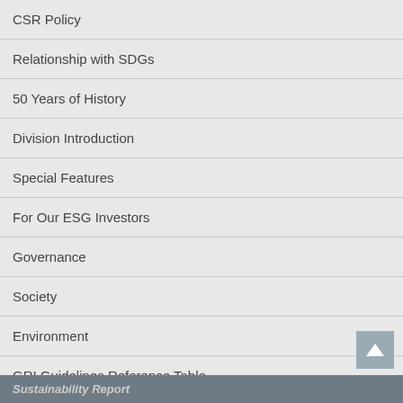CSR Policy
Relationship with SDGs
50 Years of History
Division Introduction
Special Features
For Our ESG Investors
Governance
Society
Environment
GRI Guidelines Reference Table
Sustainability Report